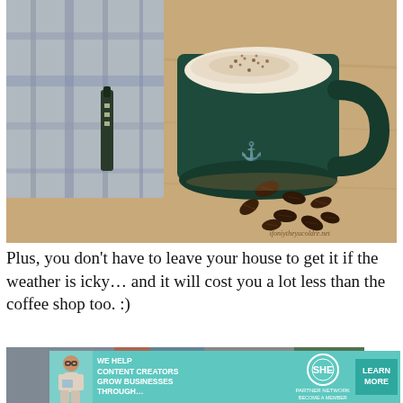[Figure (photo): A dark green mug filled with a frothy cappuccino or latte topped with cocoa powder, sitting on a wooden surface next to a folded grey plaid cloth/napkin and a small dark essential oil bottle. Coffee beans are scattered in front of the mug. A watermark reads 'ifoniytheyucoldroper'.]
Plus, you don't have to leave your house to get it if the weather is icky… and it will cost you a lot less than the coffee shop too. :)
[Figure (photo): Partial bottom image with blurred colorful background, partially visible.]
[Figure (infographic): SHE Partner Network advertisement banner: 'WE HELP CONTENT CREATORS GROW BUSINESSES THROUGH...' with SHE logo and 'LEARN MORE' button on teal/green background.]